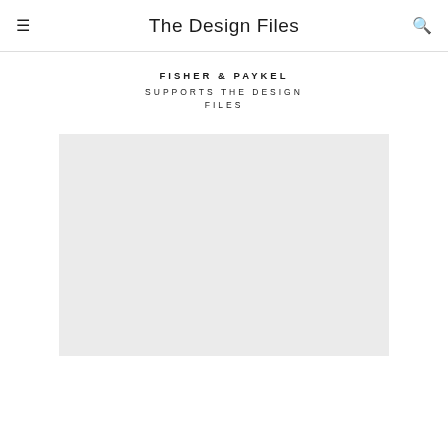The Design Files
FISHER & PAYKEL
SUPPORTS THE DESIGN FILES
[Figure (photo): Large light grey placeholder image area]